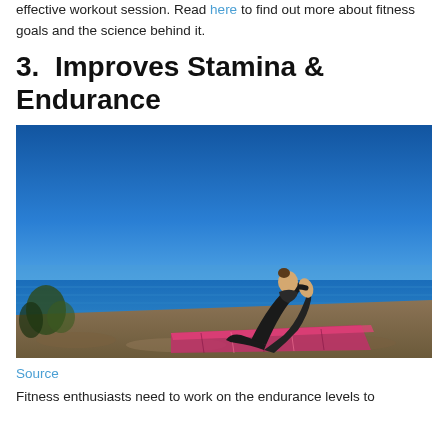effective workout session. Read here to find out more about fitness goals and the science behind it.
3.  Improves Stamina & Endurance
[Figure (photo): Woman performing a yoga bow pose on a colorful mat outdoors on a rocky cliff overlooking a blue ocean and clear sky.]
Source
Fitness enthusiasts need to work on the endurance levels to